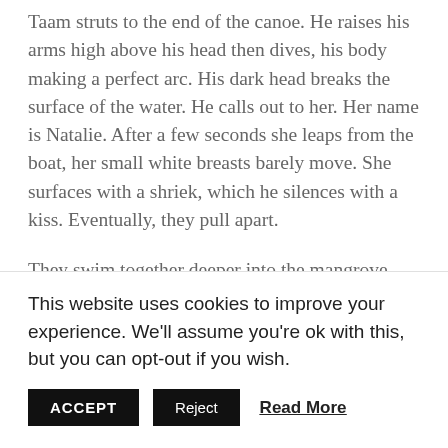Taam struts to the end of the canoe. He raises his arms high above his head then dives, his body making a perfect arc. His dark head breaks the surface of the water. He calls out to her. Her name is Natalie. After a few seconds she leaps from the boat, her small white breasts barely move. She surfaces with a shriek, which he silences with a kiss. Eventually, they pull apart.
They swim together deeper into the mangrove forest. Her hair, the colour of sun, streams out behind her as they head towards the nets. One tug is all it takes. Their shrieks of pleasure turn to screams of terror. I wade out to the boat.  Taam's clothes are in a pile at the bottom. My money is in his trouser pocket so I had
This website uses cookies to improve your experience. We'll assume you're ok with this, but you can opt-out if you wish.